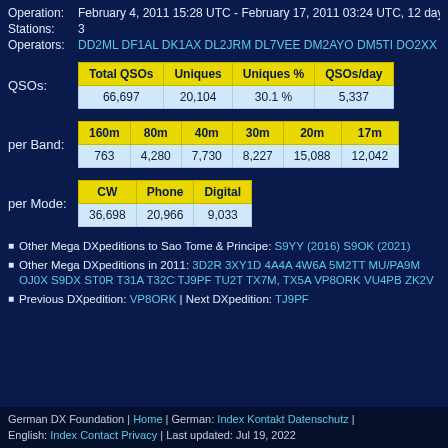Operation: February 4, 2011 15:28 UTC - February 17, 2011 03:24 UTC, 12 days
Stations: 3
Operators: DD2ML DF1AL DK1AX DL2JRM DL7VEE DM2AYO DM5TI DO2XX (
| Total QSOs | Uniques | Uniques % | QSOs/day |
| --- | --- | --- | --- |
| 66,697 | 20,104 | 30.1 % | 5,337 |
| 160m | 80m | 40m | 30m | 20m | 17m |
| --- | --- | --- | --- | --- | --- |
| 763 | 4,280 | 7,730 | 8,227 | 15,088 | 12,042 |
| CW | Phone | Digital |
| --- | --- | --- |
| 36,698 | 20,966 | 9,033 |
Other Mega DXpeditions to Sao Tome & Principe: S9YY (2016) S9OK (2021)
Other Mega DXpeditions in 2011: 3D2R 3XY1D 4A4A 4W6A 5M2TT MU/PA9M OJ0X S9DX ST0R T31A T32C TJ9PF TU2T TX7M, TX5A VP8ORK VU4PB ZK2V
Previous DXpedition: VP8ORK | Next DXpedition: TJ9PF
German DX Foundation | Home | German: Index Kontakt Datenschutz | English: Index Contact Privacy | Last updated: Jul 19, 2022